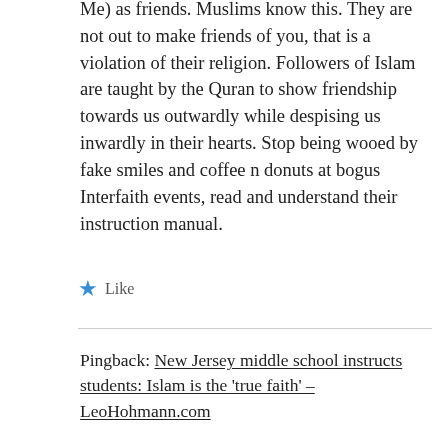Me) as friends. Muslims know this. They are not out to make friends of you, that is a violation of their religion. Followers of Islam are taught by the Quran to show friendship towards us outwardly while despising us inwardly in their hearts. Stop being wooed by fake smiles and coffee n donuts at bogus Interfaith events, read and understand their instruction manual.
Like
Pingback: New Jersey middle school instructs students: Islam is the 'true faith' – LeoHohmann.com
Pingback: West Virginia: School district ok's mosque's 'indoctrination' of teachers | Creeping Sharia